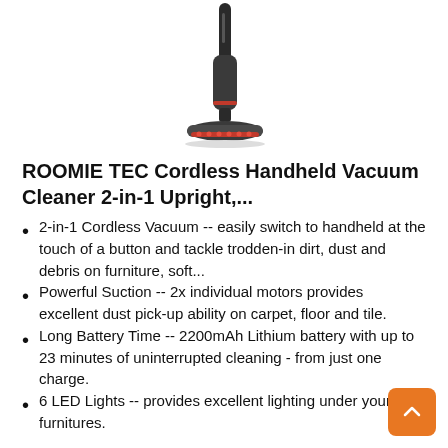[Figure (photo): A cordless upright/handheld vacuum cleaner (dark grey/black with red accents) shown standing upright on its base, viewed from the side.]
ROOMIE TEC Cordless Handheld Vacuum Cleaner 2-in-1 Upright,...
2-in-1 Cordless Vacuum -- easily switch to handheld at the touch of a button and tackle trodden-in dirt, dust and debris on furniture, soft...
Powerful Suction -- 2x individual motors provides excellent dust pick-up ability on carpet, floor and tile.
Long Battery Time -- 2200mAh Lithium battery with up to 23 minutes of uninterrupted cleaning - from just one charge.
6 LED Lights -- provides excellent lighting under your furnitures.